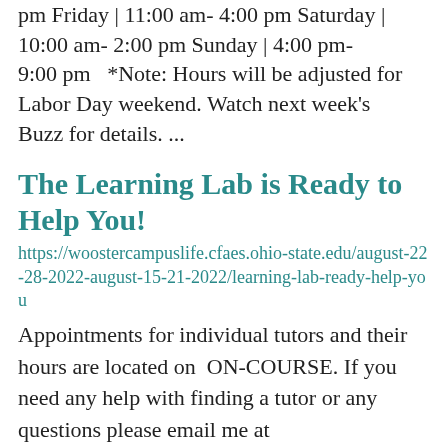pm Friday | 11:00 am- 4:00 pm Saturday | 10:00 am- 2:00 pm Sunday | 4:00 pm- 9:00 pm  *Note: Hours will be adjusted for Labor Day weekend. Watch next week's Buzz for details. ...
The Learning Lab is Ready to Help You!
https://woostercampuslife.cfaes.ohio-state.edu/august-22-28-2022-august-15-21-2022/learning-lab-ready-help-you
Appointments for individual tutors and their hours are located on  ON-COURSE. If you need any help with finding a tutor or any questions please email me at nemitz.7@osu.edu  We look forward to